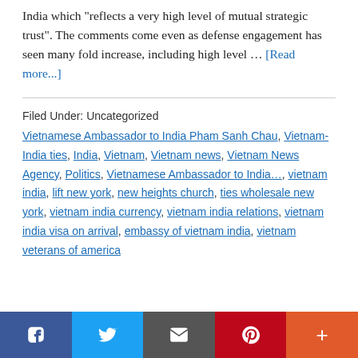India which "reflects a very high level of mutual strategic trust". The comments come even as defense engagement has seen many fold increase, including high level … [Read more...]
Filed Under: Uncategorized
Vietnamese Ambassador to India Pham Sanh Chau, Vietnam-India ties, India, Vietnam, Vietnam news, Vietnam News Agency, Politics, Vietnamese Ambassador to India…, vietnam india, lift new york, new heights church, ties wholesale new york, vietnam india currency, vietnam india relations, vietnam india visa on arrival, embassy of vietnam india, vietnam veterans of america